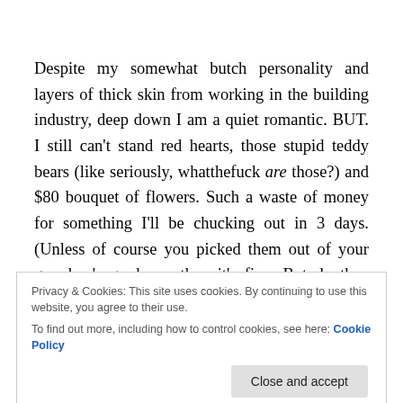Despite my somewhat butch personality and layers of thick skin from working in the building industry, deep down I am a quiet romantic. BUT. I still can't stand red hearts, those stupid teddy bears (like seriously, whatthefuck are those?) and $80 bouquet of flowers. Such a waste of money for something I'll be chucking out in 3 days. (Unless of course you picked them out of your grandma's garden – then it's fine. But do they even make those kind these days?) I still haven't grasped the
Privacy & Cookies: This site uses cookies. By continuing to use this website, you agree to their use.
To find out more, including how to control cookies, see here: Cookie Policy
on my timeline as a decoded message to someone